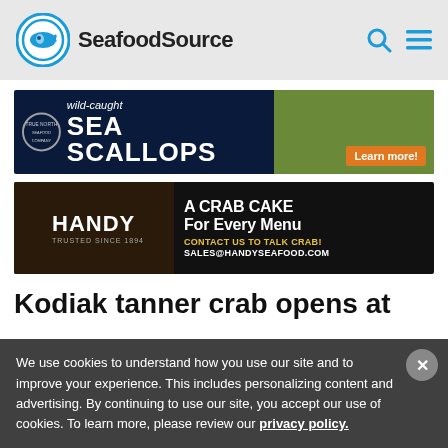SeafoodSource
[Figure (screenshot): Sea Scallops advertisement banner - wild-caught sea scallops with Learn more button]
[Figure (screenshot): Handy seafood advertisement - A Crab Cake For Every Menu, Contact us to talk crab, sales@handyseafood.com]
Kodiak tanner crab opens at
We use cookies to understand how you use our site and to improve your experience. This includes personalizing content and advertising. By continuing to use our site, you accept our use of cookies. To learn more, please review our privacy policy.